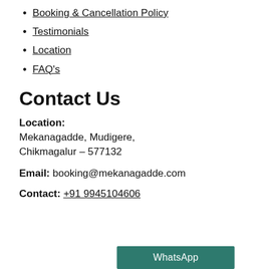Booking & Cancellation Policy
Testimonials
Location
FAQ's
Contact Us
Location: Mekanagadde, Mudigere, Chikmagalur – 577132
Email: booking@mekanagadde.com
Contact: +91 9945104606
[Figure (other): WhatsApp button (teal/dark green background with white text 'WhatsApp')]